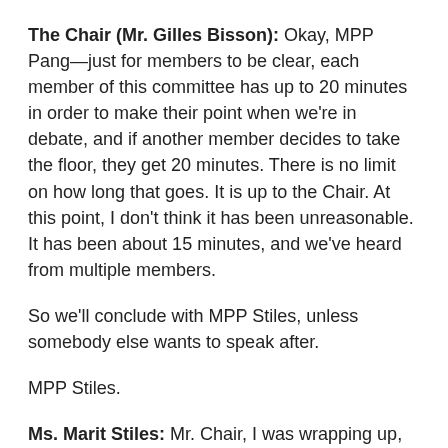The Chair (Mr. Gilles Bisson): Okay, MPP Pang—just for members to be clear, each member of this committee has up to 20 minutes in order to make their point when we're in debate, and if another member decides to take the floor, they get 20 minutes. There is no limit on how long that goes. It is up to the Chair. At this point, I don't think it has been unreasonable. It has been about 15 minutes, and we've heard from multiple members.
So we'll conclude with MPP Stiles, unless somebody else wants to speak after.
MPP Stiles.
Ms. Marit Stiles: Mr. Chair, I was wrapping up, but I do want to make the point that this, again, is something we have seen repeatedly in this committee, and I'm going to keep saying it—they want to silence me, they want to silence MPP Gates, they wanted to silence MPP Natyshak before, because we're not asking convenient questions, because